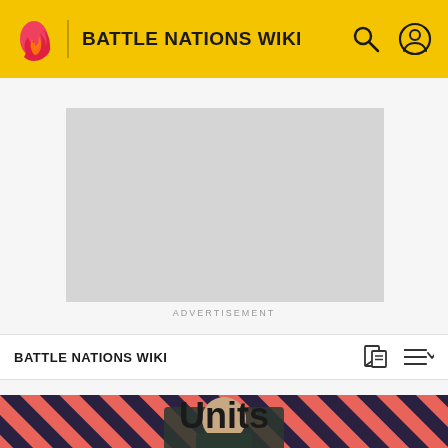BATTLE NATIONS WIKI
[Figure (other): Gray advertisement placeholder rectangle]
ADVERTISEMENT
BATTLE NATIONS WIKI
Units
EDIT
[Figure (photo): Striped red and dark banner with a bald character image in the center bottom of the page]